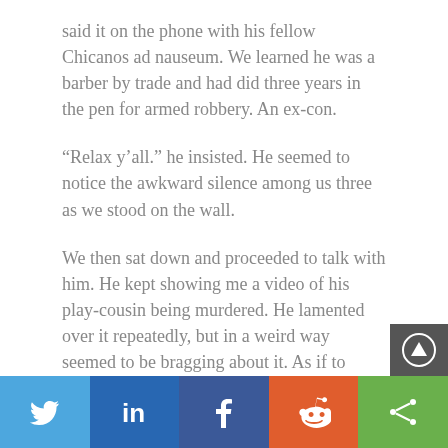said it on the phone with his fellow Chicanos ad nauseum. We learned he was a barber by trade and had did three years in the pen for armed robbery. An ex-con.
“Relax y’all.” he insisted. He seemed to notice the awkward silence among us three as we stood on the wall.
We then sat down and proceeded to talk with him. He kept showing me a video of his play-cousin being murdered. He lamented over it repeatedly, but in a weird way seemed to be bragging about it. As if to glorify the violent gangsta lifestyle.